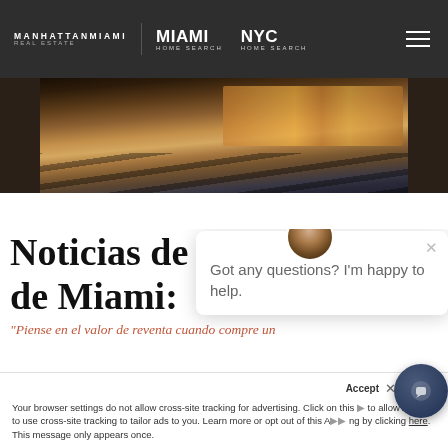MANHATTANMIAMI REAL ESTATE | MIAMI HOME SEARCH | NYC HOME SEARCH
[Figure (photo): Hero image showing interior space with warm lighting, wooden steps/bleachers, and illuminated panel displays in background]
Noticias de Bienes Raíces de Miami:
"Piense en el valor de reventa cuando compre un
[Figure (screenshot): Chat popup with agent photo and text: Got any questions? I'm happy to help.]
Your browser settings do not allow cross-site tracking for advertising. Click on this to allow AdRoll to use cross-site tracking to tailor ads to you. Learn more or opt out of this AdRoll tracking by clicking here. This message only appears once.